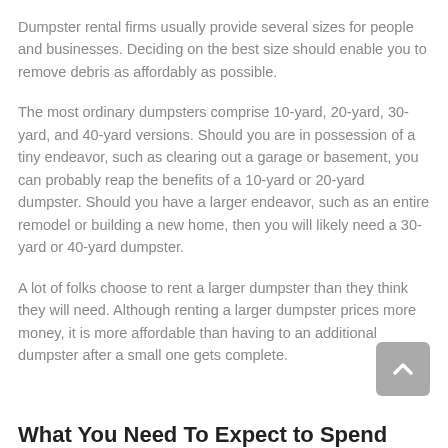Dumpster rental firms usually provide several sizes for people and businesses. Deciding on the best size should enable you to remove debris as affordably as possible.
The most ordinary dumpsters comprise 10-yard, 20-yard, 30-yard, and 40-yard versions. Should you are in possession of a tiny endeavor, such as clearing out a garage or basement, you can probably reap the benefits of a 10-yard or 20-yard dumpster. Should you have a larger endeavor, such as an entire remodel or building a new home, then you will likely need a 30-yard or 40-yard dumpster.
A lot of folks choose to rent a larger dumpster than they think they will need. Although renting a larger dumpster prices more money, it is more affordable than having to an additional dumpster after a small one gets complete.
What You Need To Expect to Spend